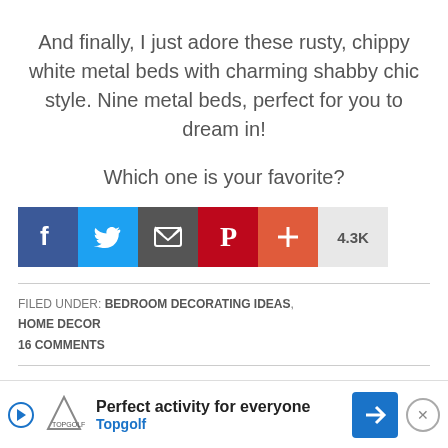And finally, I just adore these rusty, chippy white metal beds with charming shabby chic style. Nine metal beds, perfect for you to dream in!
Which one is your favorite?
[Figure (infographic): Social share buttons: Facebook (blue), Twitter (light blue), Email (dark gray), Pinterest (red), Plus (orange-red), share count 4.3K (light gray)]
FILED UNDER: BEDROOM DECORATING IDEAS, HOME DECOR
16 COMMENTS
[Figure (infographic): Advertisement banner for Topgolf: 'Perfect activity for everyone' with Topgolf logo, blue navigation icon, and close button]